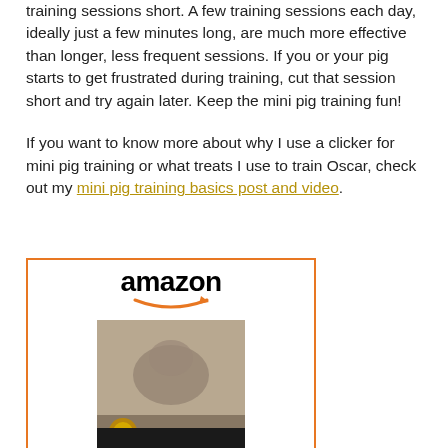training sessions short. A few training sessions each day, ideally just a few minutes long, are much more effective than longer, less frequent sessions. If you or your pig starts to get frustrated during training, cut that session short and try again later. Keep the mini pig training fun!
If you want to know more about why I use a clicker for mini pig training or what treats I use to train Oscar, check out my mini pig training basics post and video.
[Figure (other): Amazon product widget showing the Mini Pig Training Handbook book listing with price $39.95 and Prime indicator]